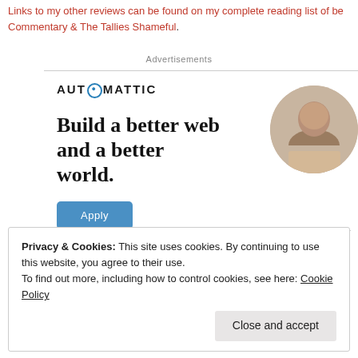Links to my other reviews can be found on my complete reading list of be Commentary & The Tallies Shameful.
Advertisements
[Figure (illustration): Automattic advertisement banner with logo, headline 'Build a better web and a better world.', Apply button, and circular photo of a person at a laptop.]
Privacy & Cookies: This site uses cookies. By continuing to use this website, you agree to their use.
To find out more, including how to control cookies, see here: Cookie Policy
Close and accept